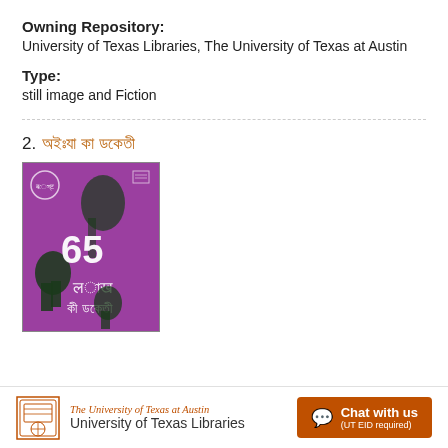Owning Repository: University of Texas Libraries, The University of Texas at Austin
Type: still image and Fiction
2. [Hindi title link]
[Figure (photo): Book cover with purple background showing Hindi text and figures, titled '65 लाख की डकैती' or similar Hindi text]
The University of Texas at Austin University of Texas Libraries | Chat with us (UT EID required)